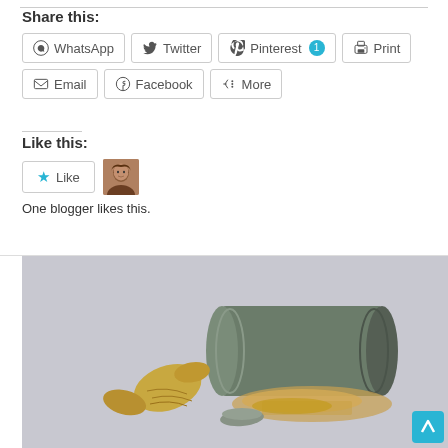Share this:
WhatsApp  Twitter  Pinterest 1  Print  Email  Facebook  More
Like this:
Like  [avatar]  One blogger likes this.
[Figure (photo): A metal tin can tipped on its side spilling ground ginger powder, with fresh ginger root pieces in the foreground, on a grey background.]